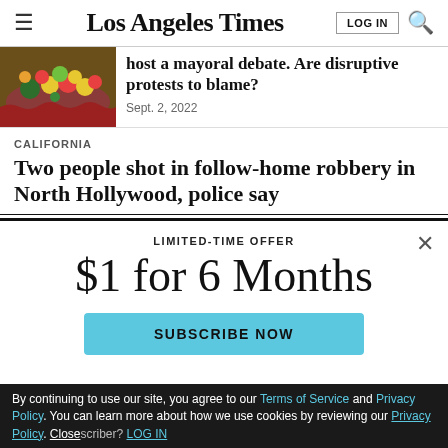Los Angeles Times | LOG IN | [search]
[Figure (photo): Flower arrangement photo, partially cropped]
host a mayoral debate. Are disruptive protests to blame?
Sept. 2, 2022
CALIFORNIA
Two people shot in follow-home robbery in North Hollywood, police say
LIMITED-TIME OFFER
$1 for 6 Months
SUBSCRIBE NOW
By continuing to use our site, you agree to our Terms of Service and Privacy Policy. You can learn more about how we use cookies by reviewing our Privacy Policy. Close
Already a subscriber? LOG IN